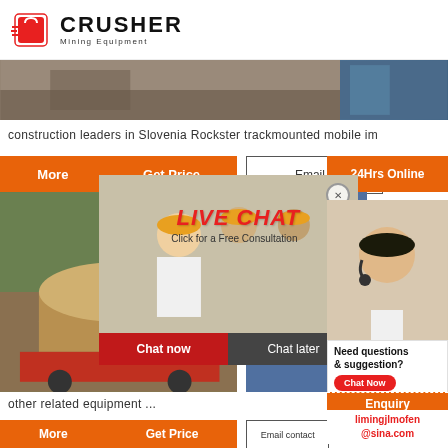[Figure (logo): Crusher Mining Equipment logo with red shopping bag icon and bold CRUSHER text]
[Figure (photo): Two side-by-side construction/equipment photos at top of page]
construction leaders in Slovenia Rockster trackmounted mobile im
[Figure (screenshot): Orange More / Get Price button bar]
[Figure (screenshot): Email contact partial box and 24Hrs Online orange box]
[Figure (screenshot): Live Chat overlay with workers in hard hats, LIVE CHAT heading, Click for a Free Consultation, Chat now and Chat later buttons]
[Figure (photo): Ball mill / cylindrical equipment on truck - left image]
[Figure (photo): Blue industrial machine - right image]
[Figure (photo): Customer service representative with headset]
[Figure (infographic): Need questions & suggestion? Chat Now button, Enquiry section, limingjlmofen@sina.com email]
other related equipment ...
[Figure (screenshot): Bottom More / Get Price orange button row and Email contact box]